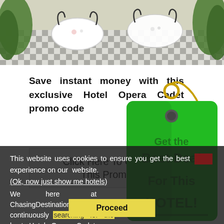[Figure (photo): Restaurant/cafe outdoor seating with round tables covered in white tablecloths, black wire chairs, black and white checkered floor, surrounded by green plants/trees]
Save instant money with this exclusive Hotel Opera Cadet promo code
Click Here To Claim This Promo
This website uses cookies to ensure you get the best experience on our website.
(Ok, now just show me hotels)
We here at ChasingDestinations.com are continuously searching for the best Hotel Opera Cadet promo
[Figure (illustration): Green price tag with gold ring and cord, overlaid text reading 'Get the Best Deal For This HOTEL!']
Proceed